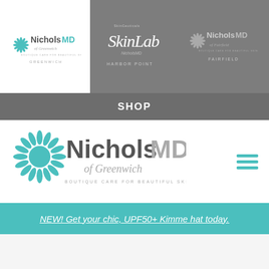[Figure (logo): NicholsMD of Greenwich logo (white background), SkinLab NicholsMD Harbor Point logo (grey background), NicholsMD Fairfield logo (grey background) - top navigation bar with three location logos]
SHOP
[Figure (logo): NicholsMD of Greenwich large logo with teal sunburst icon, script 'of Greenwich', tagline 'BOUTIQUE CARE FOR BEAUTIFUL SKIN', and hamburger menu icon]
NEW! Get your chic, UPF50+ Kimme hat today.